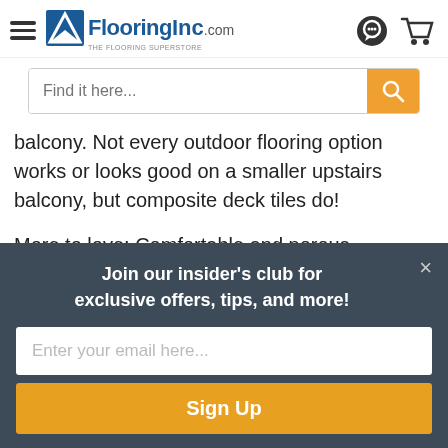FlooringInc.com
Find it here...
balcony. Not every outdoor flooring option works or looks good on a smaller upstairs balcony, but composite deck tiles do!
More to love: Comfortable and porous, composite decking allows water to flow through and drain properly, so mold and mildew are not a concern. Do you have a fear of
Join our insider's club for exclusive offers, tips, and more!
Enter your email here...
Sign Up